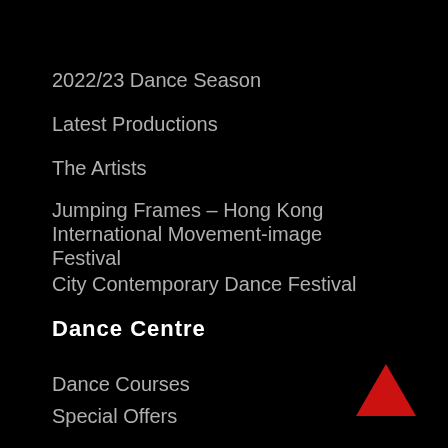2022/23 Dance Season
Latest Productions
The Artists
Jumping Frames – Hong Kong International Movement-image Festival
City Contemporary Dance Festival
Dance Centre
Dance Courses
Special Offers